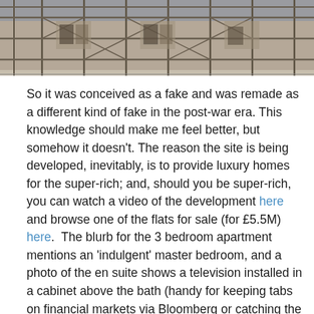[Figure (photo): Photograph of a building under construction with scaffolding visible]
So it was conceived as a fake and was remade as a different kind of fake in the post-war era. This knowledge should make me feel better, but somehow it doesn't. The reason the site is being developed, inevitably, is to provide luxury homes for the super-rich; and, should you be super-rich, you can watch a video of the development here and browse one of the flats for sale (for £5.5M) here.  The blurb for the 3 bedroom apartment mentions an 'indulgent' master bedroom, and a photo of the en suite shows a television installed in a cabinet above the bath (handy for keeping tabs on financial markets via Bloomberg or catching the latest edition of Supermarket Sweep). The illustrative interiors in the sales material as are tasteful and